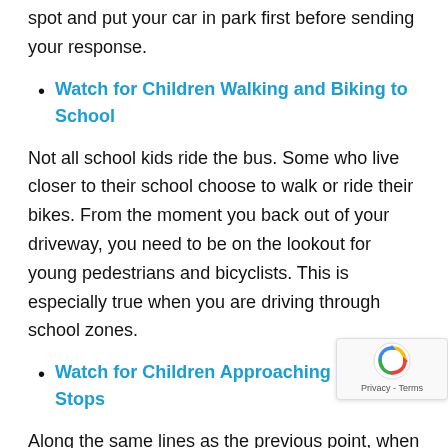spot and put your car in park first before sending your response.
Watch for Children Walking and Biking to School
Not all school kids ride the bus. Some who live closer to their school choose to walk or ride their bikes. From the moment you back out of your driveway, you need to be on the lookout for young pedestrians and bicyclists. This is especially true when you are driving through school zones.
Watch for Children Approaching Bus Stops
Along the same lines as the previous point, when you are driving near a bus stop, watch out for kids who are walking to the stop or already there waiting fo bus. Children are unpredictable, especially young children, and you never know when a child will dash